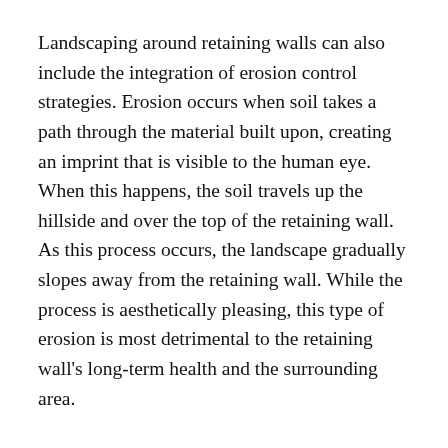Landscaping around retaining walls can also include the integration of erosion control strategies. Erosion occurs when soil takes a path through the material built upon, creating an imprint that is visible to the human eye. When this happens, the soil travels up the hillside and over the top of the retaining wall. As this process occurs, the landscape gradually slopes away from the retaining wall. While the process is aesthetically pleasing, this type of erosion is most detrimental to the retaining wall's long-term health and the surrounding area.
This process is most commonly seen when building a retaining wall that is located at a